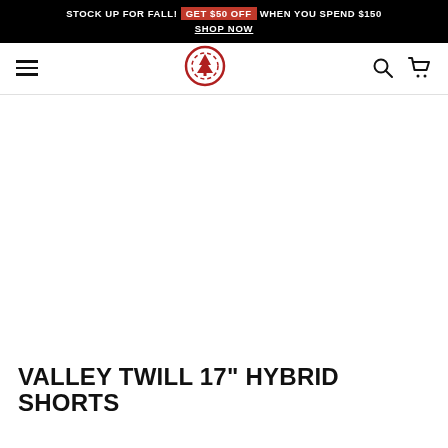STOCK UP FOR FALL! GET $50 OFF WHEN YOU SPEND $150 SHOP NOW
[Figure (logo): Element skate brand logo - red circular badge with tree icon]
VALLEY TWILL 17" HYBRID SHORTS